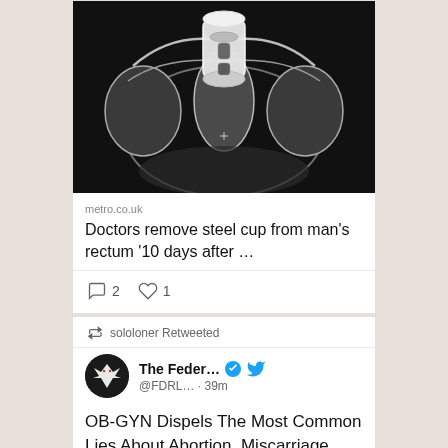[Figure (photo): X-ray image of a human pelvis showing a cylindrical metallic object (steel cup) in the rectum area]
metro.co.uk
Doctors remove steel cup from man's rectum '10 days after …
2 comments, 1 like
sololoner Retweeted
The Feder... @FDRL… · 39m
OB-GYN Dispels The Most Common Lies About Abortion, Miscarriage, And Saving The 'Life Of A Mother'
thefederalist.com/2022/08/23/pr